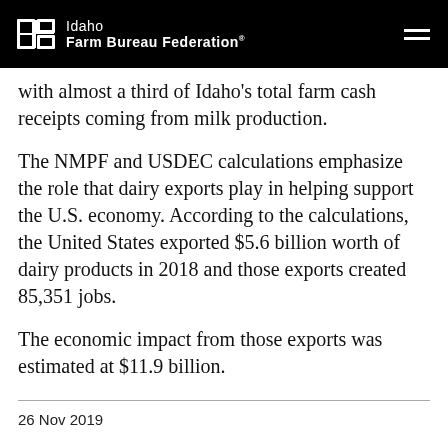Idaho Farm Bureau Federation
with almost a third of Idaho's total farm cash receipts coming from milk production.
The NMPF and USDEC calculations emphasize the role that dairy exports play in helping support the U.S. economy. According to the calculations, the United States exported $5.6 billion worth of dairy products in 2018 and those exports created 85,351 jobs.
The economic impact from those exports was estimated at $11.9 billion.
26 Nov 2019